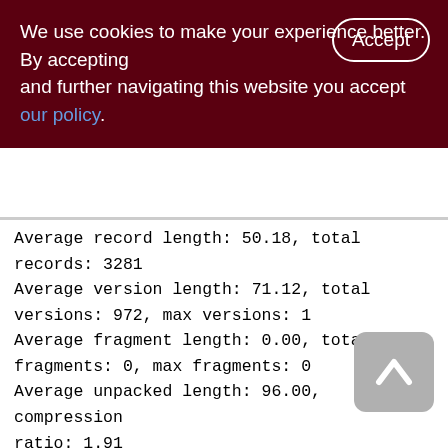We use cookies to make your experience better. By accepting and further navigating this website you accept our policy.
Average record length: 50.18, total records: 3281
Average version length: 71.12, total versions: 972, max versions: 1
Average fragment length: 0.00, total fragments: 0, max fragments: 0
Average unpacked length: 96.00, compression ratio: 1.91
Pointer pages: 1, data page slots: 768
Data pages: 152, average fill: 27%
Primary pages: 151, secondary pages: 1, swept pages: 99
Empty pages: 21, full pages: 18